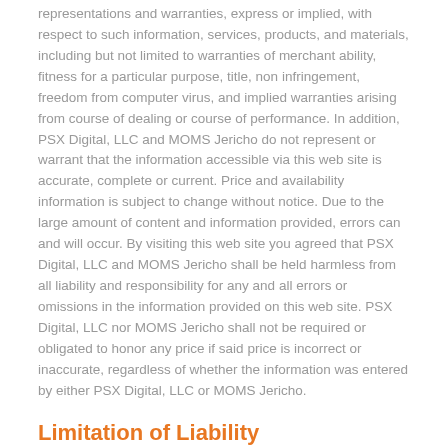representations and warranties, express or implied, with respect to such information, services, products, and materials, including but not limited to warranties of merchant ability, fitness for a particular purpose, title, non infringement, freedom from computer virus, and implied warranties arising from course of dealing or course of performance. In addition, PSX Digital, LLC and MOMS Jericho do not represent or warrant that the information accessible via this web site is accurate, complete or current. Price and availability information is subject to change without notice. Due to the large amount of content and information provided, errors can and will occur. By visiting this web site you agreed that PSX Digital, LLC and MOMS Jericho shall be held harmless from all liability and responsibility for any and all errors or omissions in the information provided on this web site. PSX Digital, LLC nor MOMS Jericho shall not be required or obligated to honor any price if said price is incorrect or inaccurate, regardless of whether the information was entered by either PSX Digital, LLC or MOMS Jericho.
Limitation of Liability